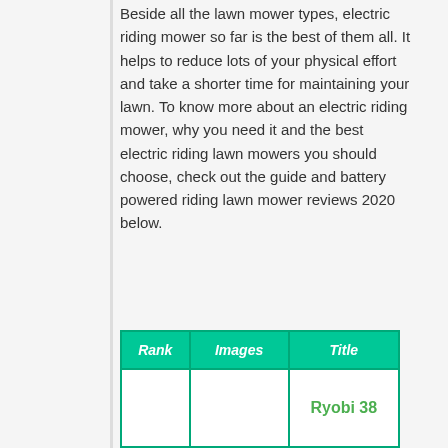Beside all the lawn mower types, electric riding mower so far is the best of them all. It helps to reduce lots of your physical effort and take a shorter time for maintaining your lawn. To know more about an electric riding mower, why you need it and the best electric riding lawn mowers you should choose, check out the guide and battery powered riding lawn mower reviews 2020 below.
| Rank | Images | Title |
| --- | --- | --- |
|  |  | Ryobi 38 ... |